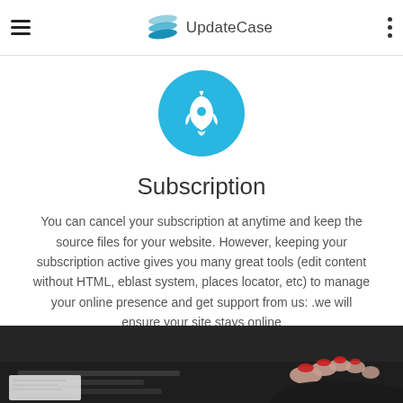UpdateCase
[Figure (illustration): Cyan circle with white rocket ship icon]
Subscription
You can cancel your subscription at anytime and keep the source files for your website. However, keeping your subscription active gives you many great tools (edit content without HTML, eblast system, places locator, etc) to manage your online presence and get support from us: .we will ensure your site stays online
[Figure (photo): Partial photo of person with red manicured nails typing on a keyboard, dark background]